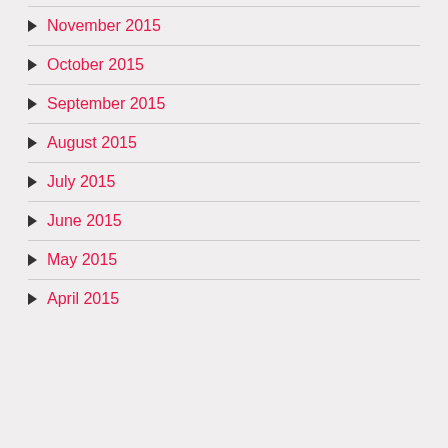November 2015
October 2015
September 2015
August 2015
July 2015
June 2015
May 2015
April 2015